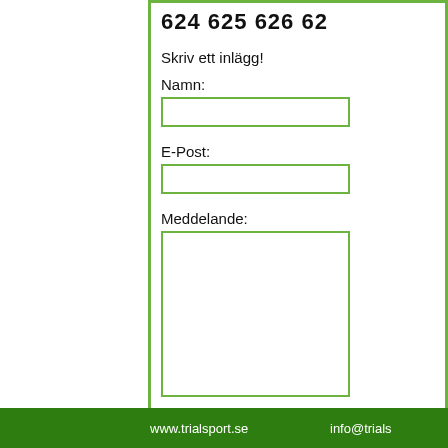624 625 626 62...
Skriv ett inlägg!
Namn:
E-Post:
Meddelande:
Skicka!
Administration
www.trialsport.se    info@trials...